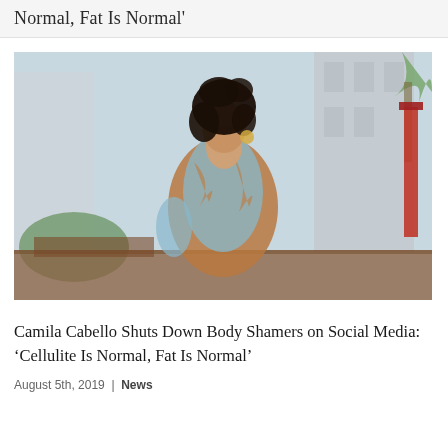Normal, Fat Is Normal'
[Figure (photo): Photo of Camila Cabello wearing a blue and orange patterned dress, standing outdoors with curly dark hair in an updo, looking over her shoulder. Background shows a building and palm trees.]
Camila Cabello Shuts Down Body Shamers on Social Media: ‘Cellulite Is Normal, Fat Is Normal’
August 5th, 2019  |  News